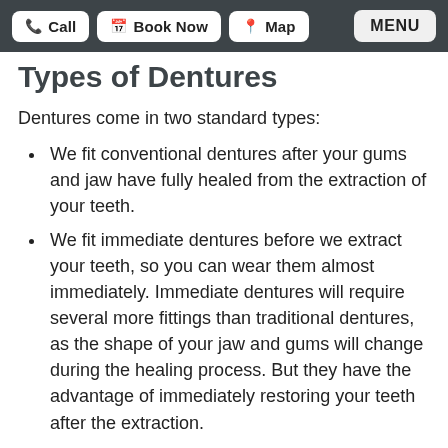Call | Book Now | Map | MENU
Types of Dentures
Dentures come in two standard types:
We fit conventional dentures after your gums and jaw have fully healed from the extraction of your teeth.
We fit immediate dentures before we extract your teeth, so you can wear them almost immediately. Immediate dentures will require several more fittings than traditional dentures, as the shape of your jaw and gums will change during the healing process. But they have the advantage of immediately restoring your teeth after the extraction.
We use partial dentures when we only need to remove some of your teeth. Partials function